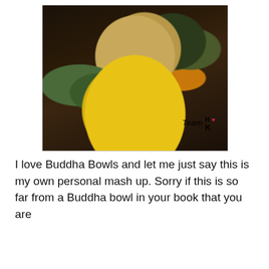[Figure (photo): A colorful Buddha bowl photographed from above, containing quinoa with dark BBQ/berry sauce drizzled on top, yellow turmeric-coated vegetables (likely squash), green beans, sauteed dark leafy greens, mushrooms, corn, and caramelized onions in a dark bowl. A watermark reads 'Team H K' with a small heart symbol.]
I love Buddha Bowls and let me just say this is my own personal mash up. Sorry if this is so far from a Buddha bowl in your book that you are